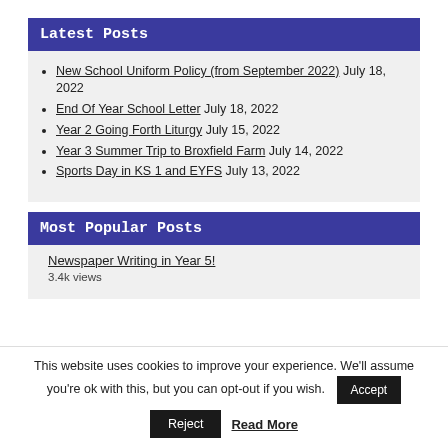Latest Posts
New School Uniform Policy (from September 2022) July 18, 2022
End Of Year School Letter July 18, 2022
Year 2 Going Forth Liturgy July 15, 2022
Year 3 Summer Trip to Broxfield Farm July 14, 2022
Sports Day in KS 1 and EYFS July 13, 2022
Most Popular Posts
Newspaper Writing in Year 5!
3.4k views
This website uses cookies to improve your experience. We'll assume you're ok with this, but you can opt-out if you wish. Accept Reject Read More